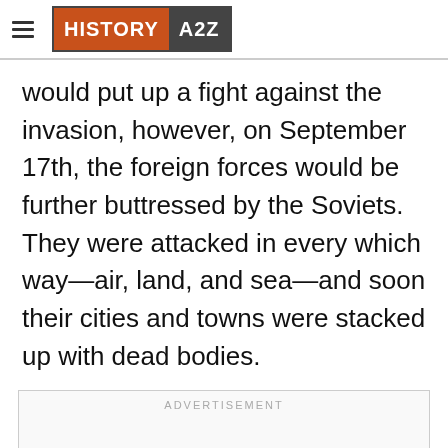HISTORY A2Z
would put up a fight against the invasion, however, on September 17th, the foreign forces would be further buttressed by the Soviets. They were attacked in every which way—air, land, and sea—and soon their cities and towns were stacked up with dead bodies.
[Figure (other): Advertisement placeholder box with 'ADVERTISEMENT' label]